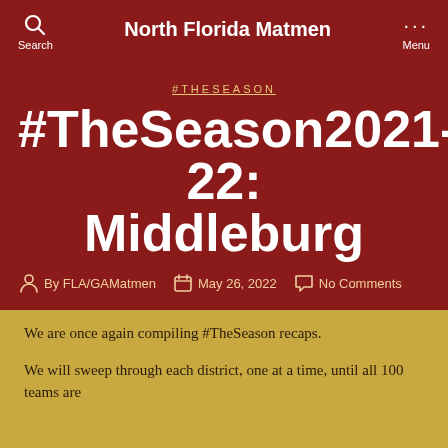North Florida Matmen
#THESEASON
#TheSeason2021-22: Middleburg
By FLA/GAMatmen  May 26, 2022  No Comments
We are once again compiling #TheSeason recaps.
We will sweep through each district, one at a time, until all 100 teams are